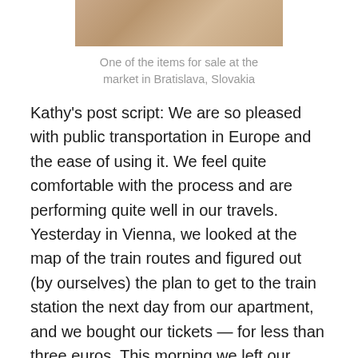[Figure (photo): Partial view of hands and items at a market in Bratislava, Slovakia]
One of the items for sale at the market in Bratislava, Slovakia
Kathy's post script: We are so pleased with public transportation in Europe and the ease of using it. We feel quite comfortable with the process and are performing quite well in our travels. Yesterday in Vienna, we looked at the map of the train routes and figured out (by ourselves) the plan to get to the train station the next day from our apartment, and we bought our tickets — for less than three euros. This morning we left our Vienna apartment, walked a block to catch the U6 tram, transferred at the appropriate stop to the U4 tram, then transferred to the U1 that brought us to the main hauptbahnhof in Vienna where we then boarded the train to Bratislava. Upon arrival in